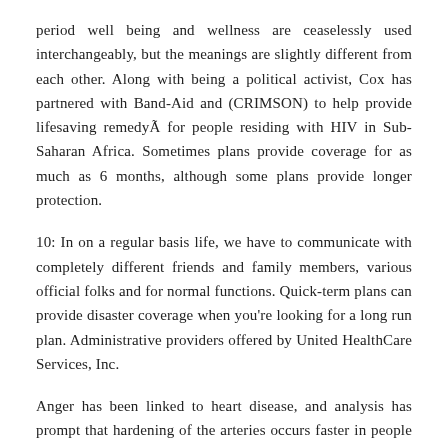period well being and wellness are ceaselessly used interchangeably, but the meanings are slightly different from each other. Along with being a political activist, Cox has partnered with Band-Aid and (CRIMSON) to help provide lifesaving remedyÃ for people residing with HIV in Sub-Saharan Africa. Sometimes plans provide coverage for as much as 6 months, although some plans provide longer protection.
10: In on a regular basis life, we have to communicate with completely different friends and family members, various official folks and for normal functions. Quick-term plans can provide disaster coverage when you're looking for a long run plan. Administrative providers offered by United HealthCare Services, Inc.
Anger has been linked to heart disease, and analysis has prompt that hardening of the arteries occurs faster in people who score extremely in hostility and anger exams. So, you may want so as to add separate plans for that form of care.